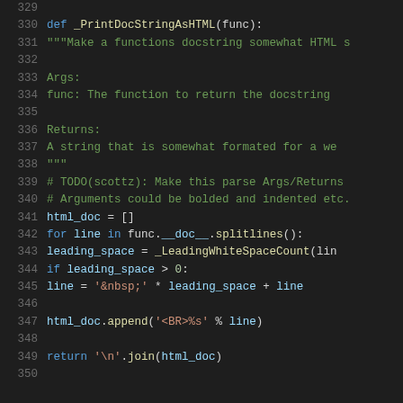Python source code lines 329-350 showing _PrintDocStringAsHTML function definition with docstring, loop logic, and return statement